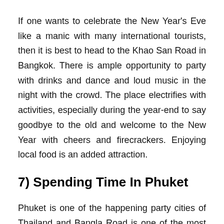If one wants to celebrate the New Year's Eve like a manic with many international tourists, then it is best to head to the Khao San Road in Bangkok. There is ample opportunity to party with drinks and dance and loud music in the night with the crowd. The place electrifies with activities, especially during the year-end to say goodbye to the old and welcome to the New Year with cheers and firecrackers. Enjoying local food is an added attraction.
7) Spending Time In Phuket
Phuket is one of the happening party cities of Thailand and Bangla Road is one of the most enjoyable places